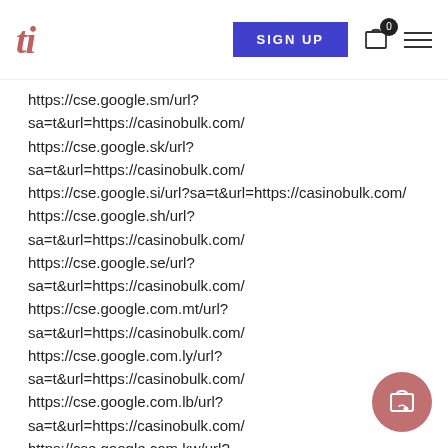ti  SIGN UP  0  ≡
https://cse.google.sm/url?
sa=t&url=https://casinobulk.com/
https://cse.google.sk/url?
sa=t&url=https://casinobulk.com/
https://cse.google.si/url?sa=t&url=https://casinobulk.com/
https://cse.google.sh/url?
sa=t&url=https://casinobulk.com/
https://cse.google.se/url?
sa=t&url=https://casinobulk.com/
https://cse.google.com.mt/url?
sa=t&url=https://casinobulk.com/
https://cse.google.com.ly/url?
sa=t&url=https://casinobulk.com/
https://cse.google.com.lb/url?
sa=t&url=https://casinobulk.com/
https://cse.google.com.kw/url?
sa=t&url=https://casinobulk.com/